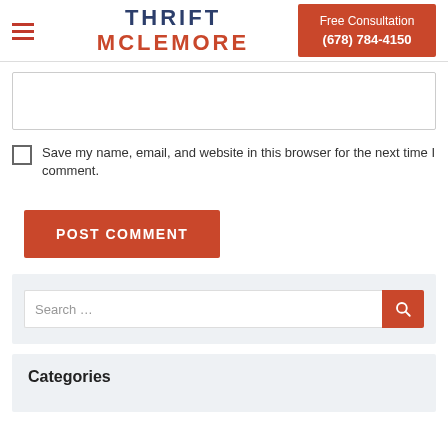[Figure (logo): Thrift McLemore law firm logo with hamburger menu icon and red Free Consultation button showing (678) 784-4150]
[Figure (screenshot): Empty textarea input field for comment]
Save my name, email, and website in this browser for the next time I comment.
[Figure (screenshot): POST COMMENT button in red/orange]
[Figure (screenshot): Search input field with red search icon button, placeholder text 'Search ...']
Categories